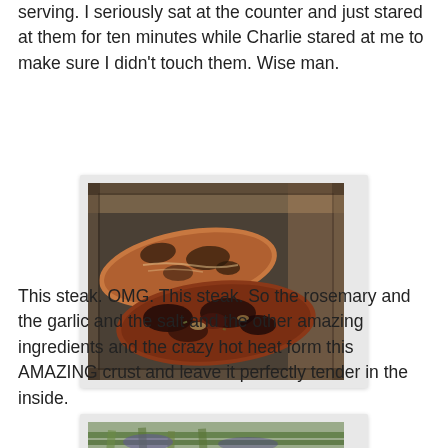serving.  I seriously sat at the counter and just stared at them for ten minutes while Charlie stared at me to make sure I didn't touch them.  Wise man.
[Figure (photo): Two grilled steaks resting in a dark metal baking pan, showing a charred, herb-crusted exterior with a rustic, caramelized crust.]
This steak.  OMG.  This steak.  So the rosemary and the garlic and the salt and the other amazing ingredients and the crazy hot heat form this AMAZING crust and leave it perfectly tender in the inside.
[Figure (photo): Close-up photo of food items including what appears to be green vegetables, partially visible at the bottom of the page.]